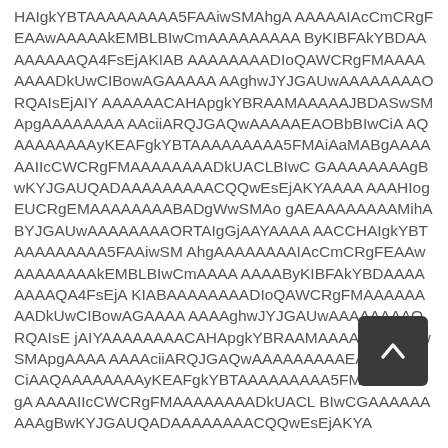HAIgkYBTAAAAAAAAA5FAAiwSMAhgAAAAAAAAIAcCmCRgFEAAwAAAAAkEMBLBIwCmAAAAAAAAByKIBFAkYBDAAAAAAAAQA4FsEjAKIABAAAAAADIoQAWCRgFMAAAAAAAADkUwCIBowAGAAAAAAAAghwJYJGAUwAAAAAAAAORQAIsEjAIYAAAAAACАНАpgkYBRAAMAAAAAJBDASwSMApgAAAAAAAAciiARQJGAQwAAAAАEAOBbBIwCiAAQAAAAAAAAуKEAFgkYBTAAAAAAAAA5FMAiAaMABgAAAAAАIIcCWCRgFMAAAAAAAADkUACLBIwCGAAAAAAAAgBwKYJGAUQADAAAAAAAAACQQwEsEjAKYAAAAAAAAAAAAHIogEUCRgEMAAAAAAAABАDgWwSMAogAEAAAAAAAAMihABYJGAUwAAAAAAAAORTAIgGjAAYAAAAAAAACCHAIgkYBTAAAAAAAAA5FAAiwSMAhgAAAAAAAAIAcCmCRgFEAAwAAAAAAAAkEMBLBIwCmAAAAAAAAAAAAByKIBFAkYBDAAAAAAAAQA4FsEjAAKIABAAAAAAAADIoQAWCRgFMAAAAAAAADkUwCIBowAGAAAAAAAAAAAAghwJYJGAUwAAAAAAAAORQAIsEjAIYAAAAAAAACAHАpgkYBRAAMAAAAAJBDASwSMApgAAAAAAAAAAAAAciiARQJGAQwAAAAAAAAАEAOBbBIwCiAAQAAAAAAAAyKEAFgkYBTAAAAAAAAA5FMAiAaMABgAAAAAAAAAAAAIIcCWCRgFMAAAAAAAADkUACLBIwCGAAAAAAAAAgBwKYJGAUQADAAAAAAAACQQwEsEjAKYA
[Figure (other): Dark rounded rectangle button with an upward-pointing chevron/arrow icon (back-to-top button)]